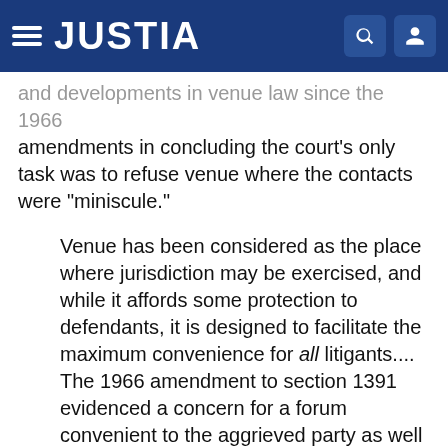JUSTIA
and developments in venue law since the 1966 amendments in concluding the court's only task was to refuse venue where the contacts were "miniscule."
Venue has been considered as the place where jurisdiction may be exercised, and while it affords some protection to defendants, it is designed to facilitate the maximum convenience for all litigants.... The 1966 amendment to section 1391 evidenced a concern for a forum convenient to the aggrieved party as well as the defendant.... Modern means of transportation and the availability of a motion for transfer under 28 U.S.C. § 1404 in the case of an extreme inconvenience, have obviated the need for a